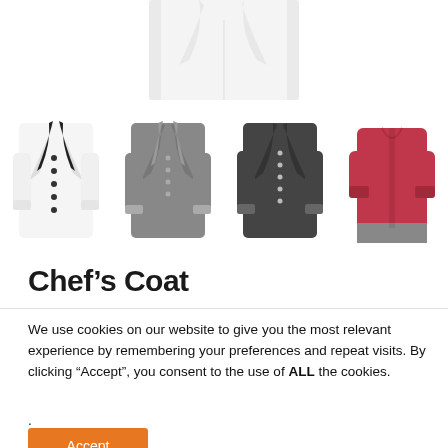[Figure (photo): Top portion of a white chef's coat, showing collar and buttons, cropped at top]
[Figure (photo): Four chef coat thumbnails in a row: white coat with black trim, dark gray coat, black coat, and red/wine-colored top]
Chef’s Coat
We use cookies on our website to give you the most relevant experience by remembering your preferences and repeat visits. By clicking “Accept”, you consent to the use of ALL the cookies.
.
Accept